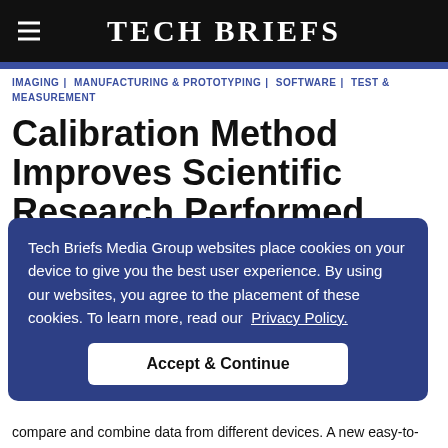Tech Briefs
IMAGING | MANUFACTURING & PROTOTYPING | SOFTWARE | TEST & MEASUREMENT
Calibration Method Improves Scientific Research Performed with Smartphone
Tech Briefs Media Group websites place cookies on your device to give you the best user experience. By using our websites, you agree to the placement of these cookies. To learn more, read our Privacy Policy.
Accept & Continue
compare and combine data from different devices. A new easy-to-